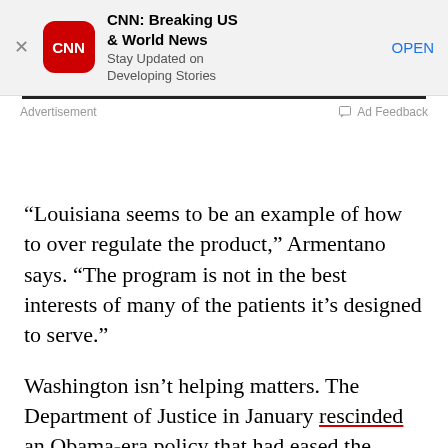[Figure (screenshot): CNN app advertisement banner with red CNN logo icon, app name 'CNN: Breaking US & World News', subtitle 'Stay Updated on Developing Stories', and blue OPEN button]
Advertisement   Ad Feedback
“Louisiana seems to be an example of how to over regulate the product,” Armentano says. “The program is not in the best interests of many of the patients it’s designed to serve.”
Washington isn’t helping matters. The Department of Justice in January rescinded an Obama-era policy that had eased the enforcement of federal marijuana